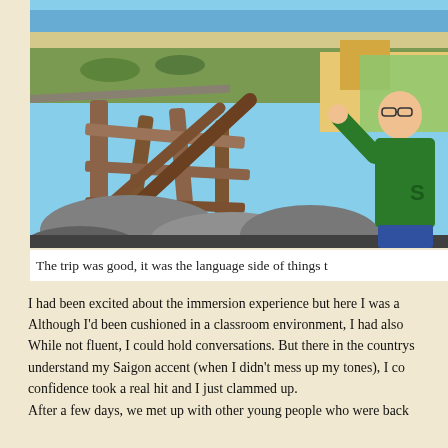[Figure (photo): A person in a green jacket standing at a rocky overlook with a wooden fence, overlooking a coastal landscape with beach, sea, green fields, and colorful buildings in Vietnam.]
The trip was good, it was the language side of things t
I had been excited about the immersion experience but here I was a Although I'd been cushioned in a classroom environment, I had also While not fluent, I could hold conversations. But there in the countrys understand my Saigon accent (when I didn't mess up my tones), I co confidence took a real hit and I just clammed up.
After a few days, we met up with other young people who were back